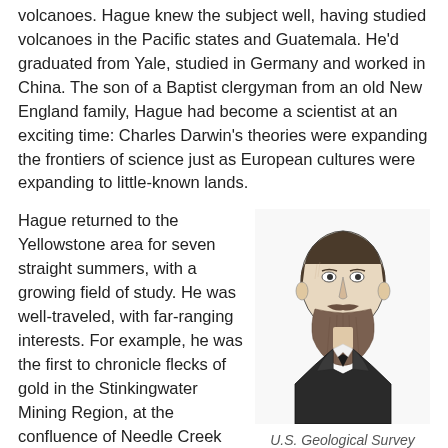volcanoes. Hague knew the subject well, having studied volcanoes in the Pacific states and Guatemala. He'd graduated from Yale, studied in Germany and worked in China. The son of a Baptist clergyman from an old New England family, Hague had become a scientist at an exciting time: Charles Darwin's theories were expanding the frontiers of science just as European cultures were expanding to little-known lands.
Hague returned to the Yellowstone area for seven straight summers, with a growing field of study. He was well-traveled, with far-ranging interests. For example, he was the first to chronicle flecks of gold in the Stinkingwater Mining Region, at the confluence of Needle Creek and the South Fork of the Shoshone River southwest of present Cody, Wyo.
[Figure (illustration): Black and white engraved portrait illustration of a bearded man in 19th century formal attire, facing slightly left]
U.S. Geological Survey
William F. "Buffalo Bill" Cody then